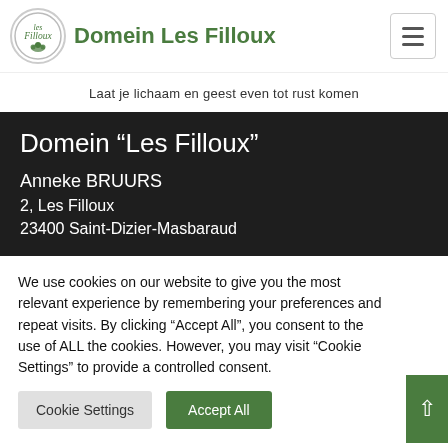Domein Les Filloux
Laat je lichaam en geest even tot rust komen
Domein “Les Filloux”
Anneke BRUURS
2, Les Filloux
23400 Saint-Dizier-Masbaraud
We use cookies on our website to give you the most relevant experience by remembering your preferences and repeat visits. By clicking “Accept All”, you consent to the use of ALL the cookies. However, you may visit “Cookie Settings” to provide a controlled consent.
Cookie Settings
Accept All